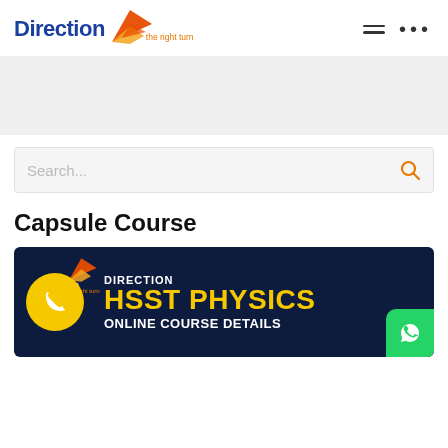[Figure (logo): Direction 'the right turn' logo with blue text and orange arrow/flame graphic]
[Figure (screenshot): Navigation icons: hamburger menu and three dots menu]
[Figure (screenshot): Gray banner/advertisement area]
Search...
Capsule Course
[Figure (infographic): Direction HSST Physics Online Course Details banner with dark navy background, yellow circle with phone icon, logo with arrow, and green WhatsApp button]